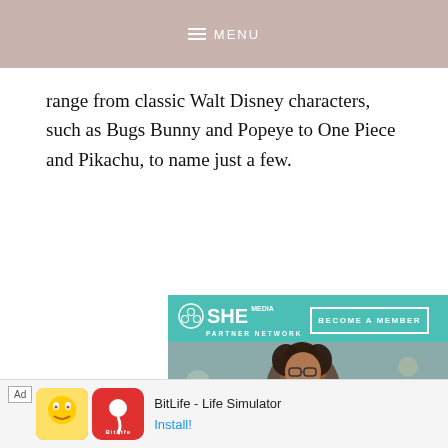MENU
range from classic Walt Disney characters, such as Bugs Bunny and Popeye to One Piece and Pikachu, to name just a few.
[Figure (infographic): SHE Media Partner Network advertisement. Teal background with SHE Media logo and 'BECOME A MEMBER' button. Photo of smiling woman with glasses and curly hair using a laptop. Text: 'WE HELP CONTENT CREATORS GROW BUSINESSES THROUGH...' with a 'LEARN MORE' button.]
[Figure (infographic): BitLife - Life Simulator mobile app advertisement. Shows ad badge, colorful cartoon icon on left, red BitLife app icon with sperm logo, app name 'BitLife - Life Simulator', and 'Install!' link.]